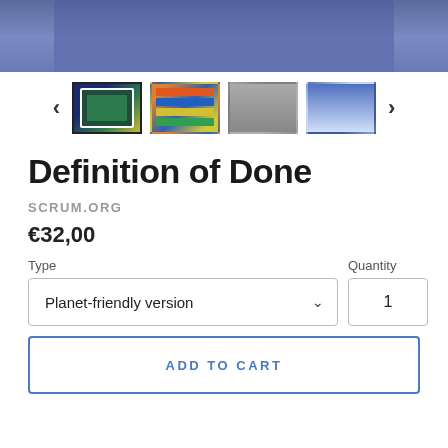[Figure (photo): Top portion of a product page photo showing two people in blue sweaters holding/displaying a product. Only the lower portion of the image is visible as a cropped banner.]
[Figure (photo): Thumbnail image carousel with four product images and left/right navigation arrows. First thumbnail is selected (bordered). Images show: person holding green board game, colorful stacked cards, people in a room, person with raised hands.]
Definition of Done
SCRUM.ORG
€32,00
Type
Planet-friendly version
Quantity
1
ADD TO CART